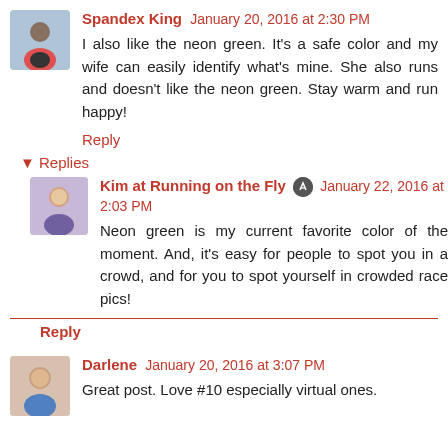Spandex King  January 20, 2016 at 2:30 PM
I also like the neon green. It's a safe color and my wife can easily identify what's mine. She also runs and doesn't like the neon green. Stay warm and run happy!
Reply
▾  Replies
Kim at Running on the Fly  January 22, 2016 at 2:03 PM
Neon green is my current favorite color of the moment. And, it's easy for people to spot you in a crowd, and for you to spot yourself in crowded race pics!
Reply
Darlene  January 20, 2016 at 3:07 PM
Great post. Love #10 especially virtual ones.